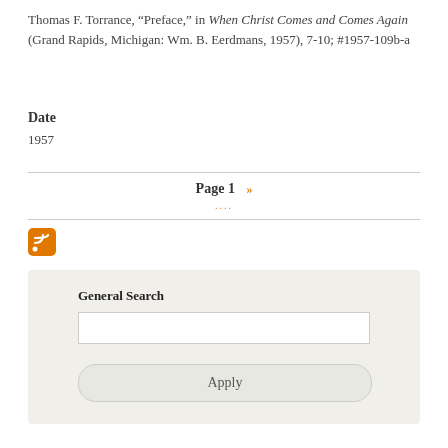Thomas F. Torrance, “Preface,” in When Christ Comes and Comes Again (Grand Rapids, Michigan: Wm. B. Eerdmans, 1957), 7-10; #1957-109b-a
Date
1957
Page 1 »» ....
[Figure (other): RSS feed icon - orange square with white wifi/feed symbol]
General Search
Apply